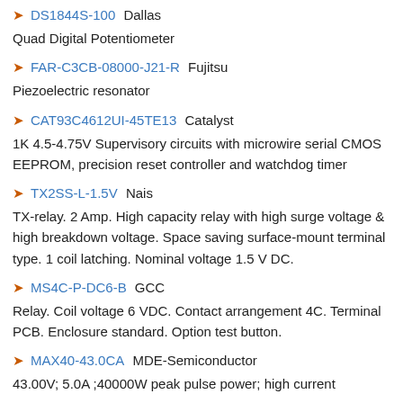DS1844S-100 Dallas
Quad Digital Potentiometer
FAR-C3CB-08000-J21-R Fujitsu
Piezoelectric resonator
CAT93C4612UI-45TE13 Catalyst
1K 4.5-4.75V Supervisory circuits with microwire serial CMOS EEPROM, precision reset controller and watchdog timer
TX2SS-L-1.5V Nais
TX-relay. 2 Amp. High capacity relay with high surge voltage & high breakdown voltage. Space saving surface-mount terminal type. 1 coil latching. Nominal voltage 1.5 V DC.
MS4C-P-DC6-B GCC
Relay. Coil voltage 6 VDC. Contact arrangement 4C. Terminal PCB. Enclosure standard. Option test button.
MAX40-43.0CA MDE-Semiconductor
43.00V; 5.0A ;40000W peak pulse power; high current